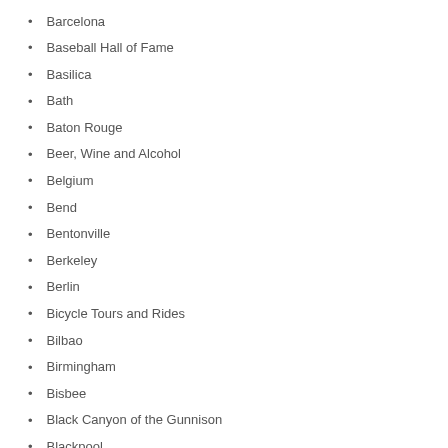Barcelona
Baseball Hall of Fame
Basilica
Bath
Baton Rouge
Beer, Wine and Alcohol
Belgium
Bend
Bentonville
Berkeley
Berlin
Bicycle Tours and Rides
Bilbao
Birmingham
Bisbee
Black Canyon of the Gunnison
Blackpool